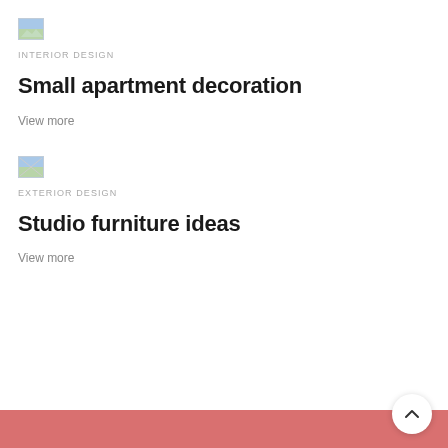[Figure (photo): Small broken image placeholder thumbnail (landscape with sky/grass colors)]
INTERIOR DESIGN
Small apartment decoration
View more
[Figure (photo): Small broken image placeholder thumbnail]
EXTERIOR DESIGN
Studio furniture ideas
View more